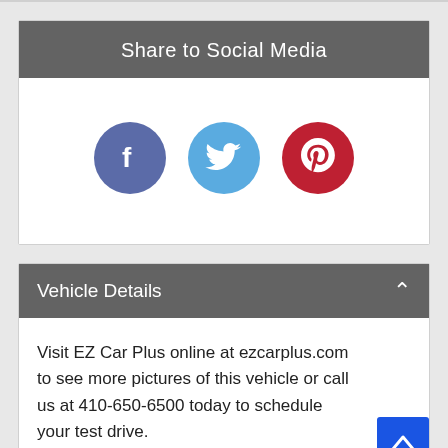Share to Social Media
[Figure (illustration): Three social media icon circles: Facebook (dark blue-purple), Twitter (light blue), Pinterest (dark red), each with white logo icons.]
Vehicle Details
Visit EZ Car Plus online at ezcarplus.com to see more pictures of this vehicle or call us at 410-650-6500 today to schedule your test drive.
Text Us